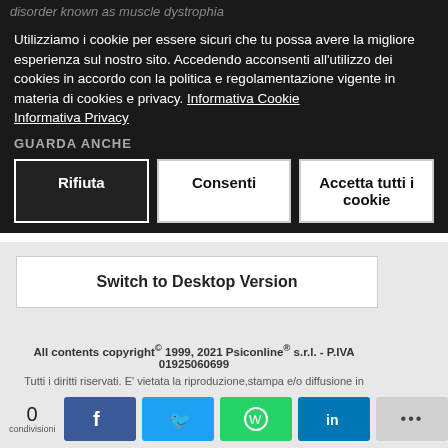disorder known as muscle dystrophia
Utilizziamo i cookie per essere sicuri che tu possa avere la migliore esperienza sul nostro sito. Accedendo acconsenti all'utilizzo dei cookies in accordo con la politica e regolamentazione vigente in materia di cookies e privacy. Informativa Cookie Informativa Privacy
GUARDA ANCHE
Rifiuta
Consenti
Accetta tutti i cookie
Switch to Desktop Version
All contents copyright© 1999, 2021 Psiconline® s.r.l. - P.IVA 01925060699
Tutti i diritti riservati. E' vietata la riproduzione,stampa e/o diffusione in qualsiasi forma del testo e/o delle immagini senza il permesso scritto di Psiconline® srl
All Rights Reserved. No material may be reproduced electronically or in print without written permission from Psiconline® srl- Italy.
Note legali - Si prega di leggerle accuratamente prima di utilizzare il sito – Privacy Policy
0 condivisioni
[Figure (screenshot): Social share bar with Facebook, Twitter, WhatsApp, LinkedIn, and more buttons]